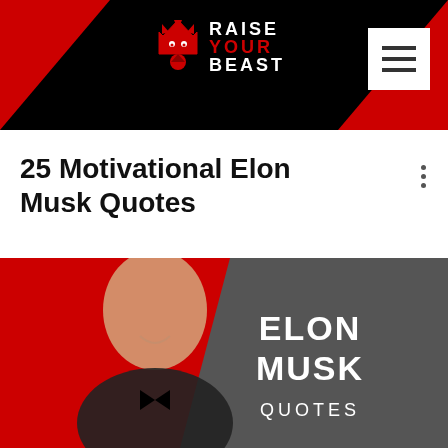RAISE YOUR BEAST
25 Motivational Elon Musk Quotes
[Figure (photo): Featured image showing Elon Musk in a tuxedo on a red background with dark grey diagonal section, text reading ELON MUSK QUOTES in white]